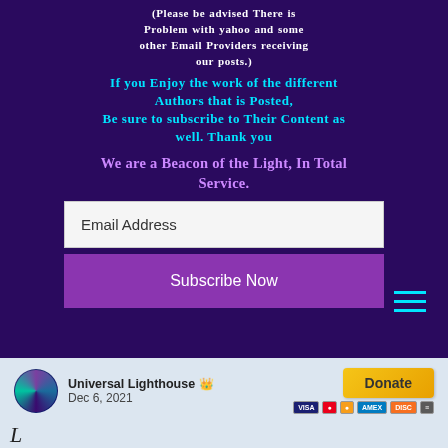(Please be advised There is Problem with yahoo and some other Email Providers receiving our posts.)
If you Enjoy the work of the different Authors that is Posted, Be sure to subscribe to Their Content as well. Thank you
We are a Beacon of the Light,  In Total Service.
[Figure (screenshot): Email address input field with placeholder text 'Email Address']
[Figure (screenshot): Purple 'Subscribe Now' button]
[Figure (screenshot): Hamburger menu icon with three cyan lines]
[Figure (screenshot): Universal Lighthouse author avatar, name with crown icon, date Dec 6 2021, Donate button and payment icons]
Universal Lighthouse 👑
Dec 6, 2021
Donate